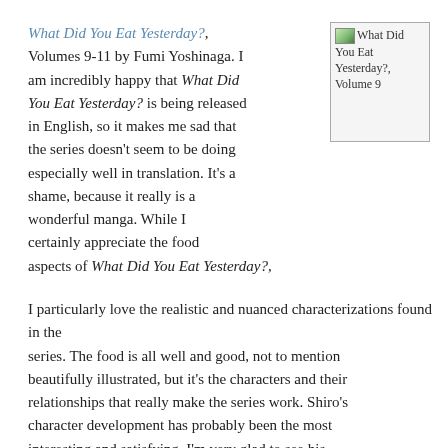What Did You Eat Yesterday?, Volumes 9-11 by Fumi Yoshinaga. I am incredibly happy that What Did You Eat Yesterday? is being released in English, so it makes me sad that the series doesn't seem to be doing especially well in translation. It's a shame, because it really is a wonderful manga. While I certainly appreciate the food aspects of What Did You Eat Yesterday?, I particularly love the realistic and nuanced characterizations found in the series. The food is all well and good, not to mention beautifully illustrated, but it's the characters and their relationships that really make the series work. Shiro's character development has probably been the most interesting and satisfying. I'm very glad to see his relationship with his parents improving even after some
[Figure (illustration): Book cover image placeholder for 'What Did You Eat Yesterday?, Volume 9']